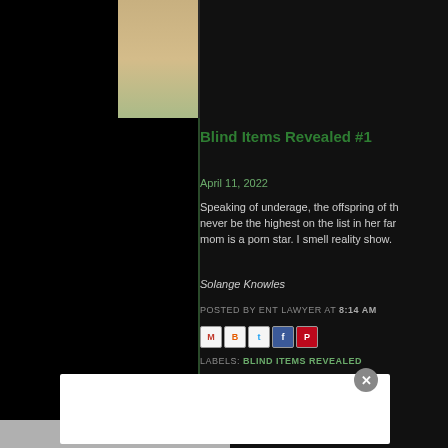[Figure (photo): Screenshot of a blog post page (CDAN/Crazy Days and Nights). Top portion shows a video thumbnail of a large white dog (golden retriever puppy) lying on a colorful blanket with a play button overlay. A black background surrounds the content. Top-right has a circular close (X) button.]
Blind Items Revealed #1
April 11, 2022
Speaking of underage, the offspring of th never be the highest on the list in her far mom is a porn star. I smell reality show.
Solange Knowles
POSTED BY ENT LAWYER AT 8:14 AM
LABELS: BLIND ITEMS REVEALED